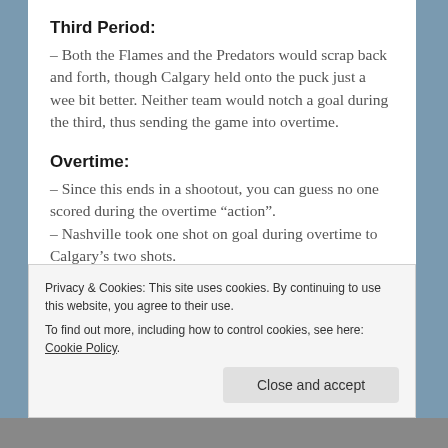Third Period:
– Both the Flames and the Predators would scrap back and forth, though Calgary held onto the puck just a wee bit better. Neither team would notch a goal during the third, thus sending the game into overtime.
Overtime:
– Since this ends in a shootout, you can guess no one scored during the overtime “action”.
– Nashville took one shot on goal during overtime to Calgary’s two shots.
Privacy & Cookies: This site uses cookies. By continuing to use this website, you agree to their use. To find out more, including how to control cookies, see here: Cookie Policy